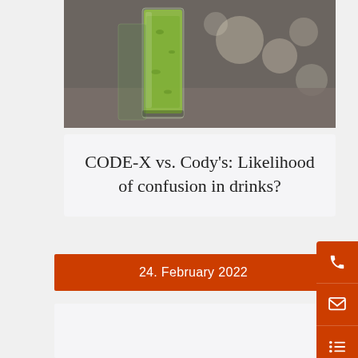[Figure (photo): A green drink/smoothie in a tall glass on a table, with blurred bokeh background]
CODE-X vs. Cody's: Likelihood of confusion in drinks?
24. February 2022
[Figure (infographic): Sidebar with orange background containing phone, email, and list icons]